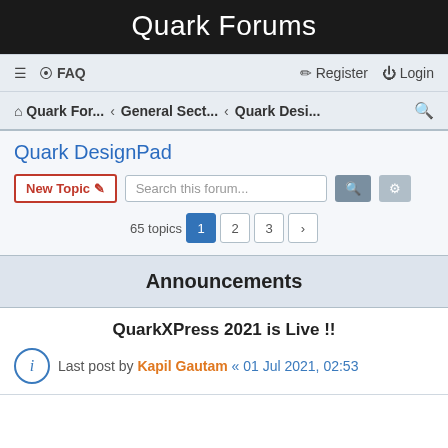Quark Forums
≡ ● FAQ   Register ⏻ Login
⌂ Quark For... ‹ General Sect... ‹ Quark Desi... 🔍
Quark DesignPad
New Topic ✏  Search this forum...  🔍  ⚙
65 topics  1  2  3  ›
Announcements
QuarkXPress 2021 is Live !!
Last post by Kapil Gautam « 01 Jul 2021, 02:53